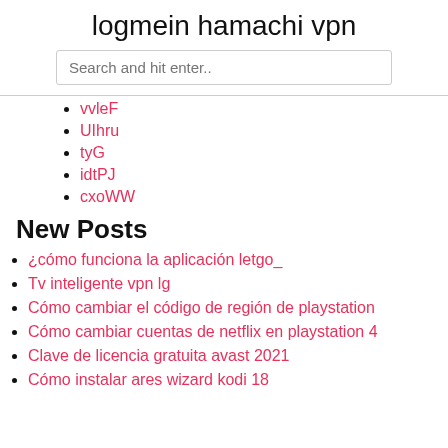logmein hamachi vpn
vvleF
UIhru
tyG
idtPJ
cxoWW
New Posts
¿cómo funciona la aplicación letgo_
Tv inteligente vpn lg
Cómo cambiar el código de región de playstation
Cómo cambiar cuentas de netflix en playstation 4
Clave de licencia gratuita avast 2021
Cómo instalar ares wizard kodi 18